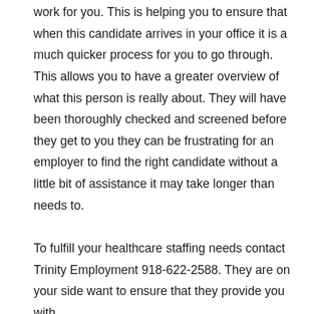work for you. This is helping you to ensure that when this candidate arrives in your office it is a much quicker process for you to go through. This allows you to have a greater overview of what this person is really about. They will have been thoroughly checked and screened before they get to you they can be frustrating for an employer to find the right candidate without a little bit of assistance it may take longer than needs to.

To fulfill your healthcare staffing needs contact Trinity Employment 918-622-2588. They are on your side want to ensure that they provide you with